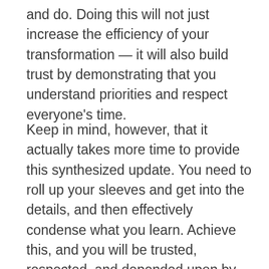and do. Doing this will not just increase the efficiency of your transformation — it will also build trust by demonstrating that you understand priorities and respect everyone's time.
Keep in mind, however, that it actually takes more time to provide this synthesized update. You need to roll up your sleeves and get into the details, and then effectively condense what you learn. Achieve this, and you will be trusted, respected, and depended upon by both your corporate and project leaders.